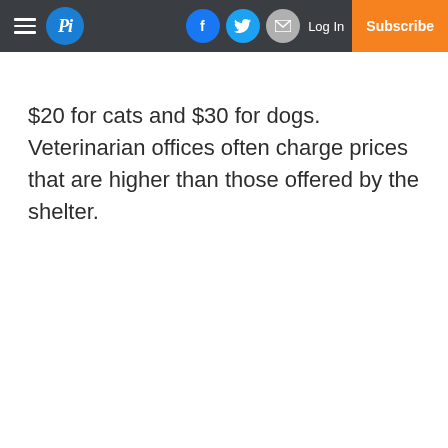Pi | Log In | Subscribe
$20 for cats and $30 for dogs. Veterinarian offices often charge prices that are higher than those offered by the shelter.